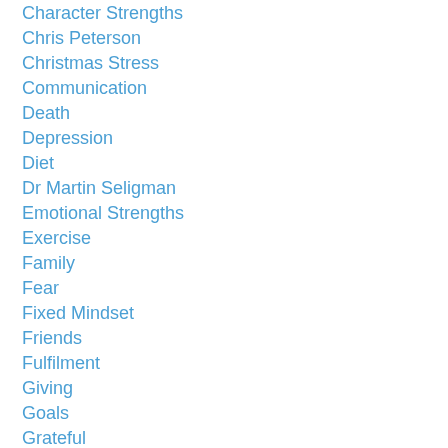Character Strengths
Chris Peterson
Christmas Stress
Communication
Death
Depression
Diet
Dr Martin Seligman
Emotional Strengths
Exercise
Family
Fear
Fixed Mindset
Friends
Fulfilment
Giving
Goals
Grateful
Gratitude
Gratitude Visit
Grieving